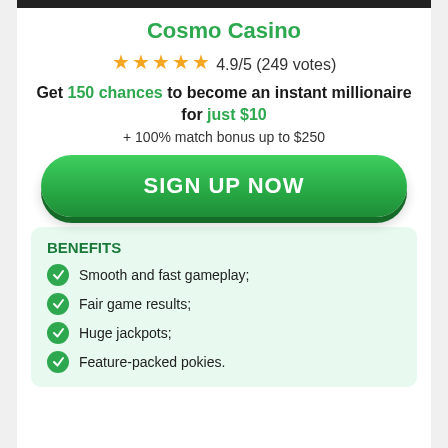Cosmo Casino
★★★★★ 4.9/5 (249 votes)
Get 150 chances to become an instant millionaire for just $10
+ 100% match bonus up to $250
[Figure (other): Green rounded button with text SIGN UP NOW]
BENEFITS
Smooth and fast gameplay;
Fair game results;
Huge jackpots;
Feature-packed pokies.